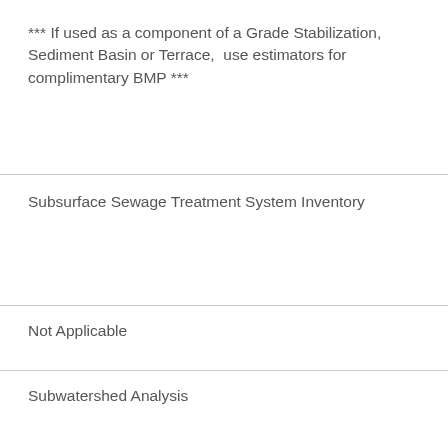*** If used as a component of a Grade Stabilization, Sediment Basin or Terrace,  use estimators for complimentary BMP ***
Subsurface Sewage Treatment System Inventory
Not Applicable
Subwatershed Analysis
Back to top